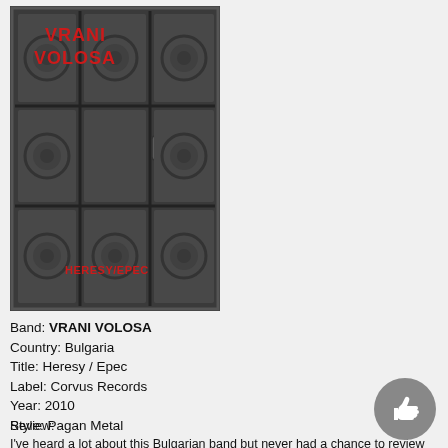[Figure (photo): Album cover for Vrani Volosa - Heresy / Epec. Shows ornate dark metal doors with embossed decorative panels and a padlock. The band name 'VRANI VOLOSA' appears in red text at the top, and 'HERESY/EPEC' in red text at the bottom.]
Band: VRANI VOLOSA
Country: Bulgaria
Title: Heresy / Epec
Label: Corvus Records
Year: 2010
Style: Pagan Metal
Review:
I've heard a lot about this Bulgarian band but never had a chance to review one of their releases. This one I'm listening right now is their second full-length, a 10 tracks release lasting for more than an hour. Pagan Metal it is, but a quite original and interesting breed I must say. This is not the common mixture of Pagan + Metal, but a the experimental kind I'll